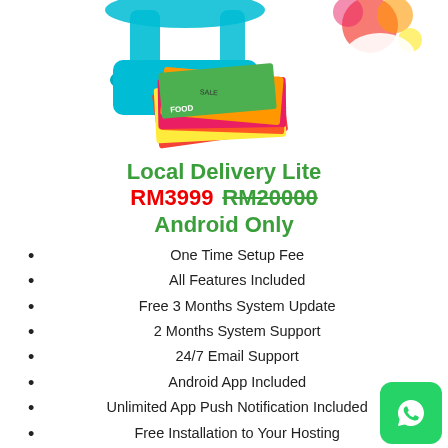[Figure (illustration): Colorful grocery basket with magazines/flyers illustration at top of page]
Local Delivery Lite
RM3999 RM20000
Android Only
One Time Setup Fee
All Features Included
Free 3 Months System Update
2 Months System Support
24/7 Email Support
Android App Included
Unlimited App Push Notification Included
Free Installation to Your Hosting
Submission to Google Play Store RM1000
IOS App Not Included